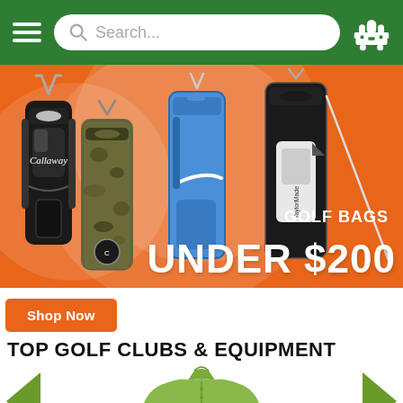[Figure (screenshot): Green navigation header with hamburger menu icon, search bar, and golf cart icon]
[Figure (infographic): Orange promotional banner showing multiple golf bags (Callaway, camo, Nike blue, TaylorMade) with text 'GOLF BAGS UNDER $200' on orange background with decorative circles]
Shop Now
TOP GOLF CLUBS & EQUIPMENT
[Figure (photo): Green polo shirt product photo centered in carousel with left and right green arrow navigation buttons]